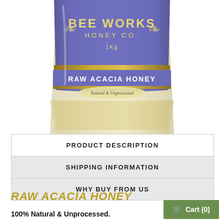[Figure (photo): Bee Works Honey Co. 1Kg Raw Acacia Honey jar, Natural & Unprocessed, showing the top label portion of a glass jar with purple and gold label]
PRODUCT DESCRIPTION
SHIPPING INFORMATION
WHY BUY FROM US
RAW ACACIA HONEY
100% Natural & Unprocessed.
Cart (0)